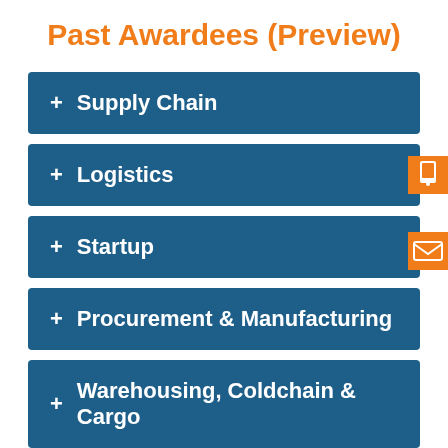Past Awardees (Preview)
+ Supply Chain
+ Logistics
+ Startup
+ Procurement & Manufacturing
+ Warehousing, Coldchain & Cargo